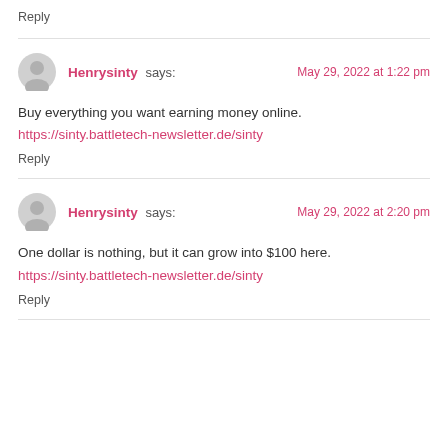Reply
Henrysinty says: May 29, 2022 at 1:22 pm
Buy everything you want earning money online.
https://sinty.battletech-newsletter.de/sinty
Reply
Henrysinty says: May 29, 2022 at 2:20 pm
One dollar is nothing, but it can grow into $100 here.
https://sinty.battletech-newsletter.de/sinty
Reply